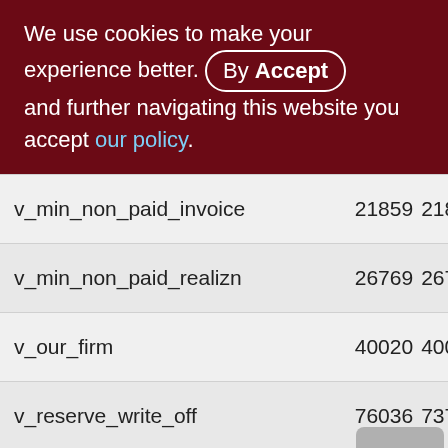We use cookies to make your experience better. By Accept and further navigating this website you accept our policy.
| Name | Col1 | Col2 |
| --- | --- | --- |
| v_min_non_paid_invoice | 21859 | 218 |
| v_min_non_paid_realizn | 26769 | 267 |
| v_our_firm | 40020 | 400 |
| v_reserve_write_off | 76036 | 737 |
| x_lock_depdocs_on_canc_invoice | 17972 | 98 |